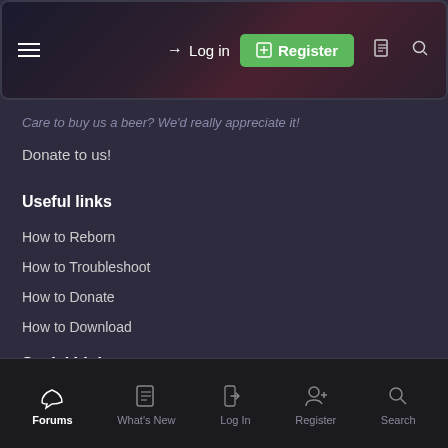[Figure (screenshot): Top navigation bar with hamburger menu, Log in link, green Register button, document icon, and search icon on a dark gradient background]
Care to buy us a beer? We'd really appreciate it!
Donate to us!
Useful links
How to Reborn
How to Troubleshoot
How to Donate
How to Download
Social Links
Forums  What's New  Log In  Register  Search